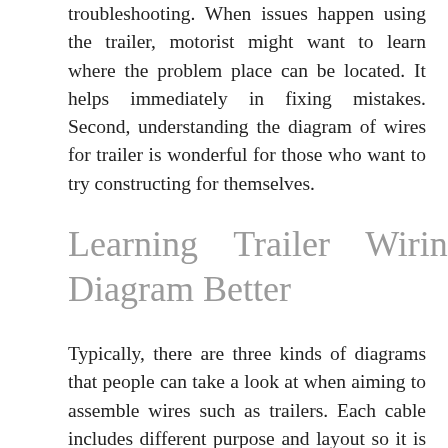troubleshooting. When issues happen using the trailer, motorist might want to learn where the problem place can be located. It helps immediately in fixing mistakes. Second, understanding the diagram of wires for trailer is wonderful for those who want to try constructing for themselves.
Learning Trailer Wiring Diagram Better
Typically, there are three kinds of diagrams that people can take a look at when aiming to assemble wires such as trailers. Each cable includes different purpose and layout so it is essential for motorist to study the various types of...